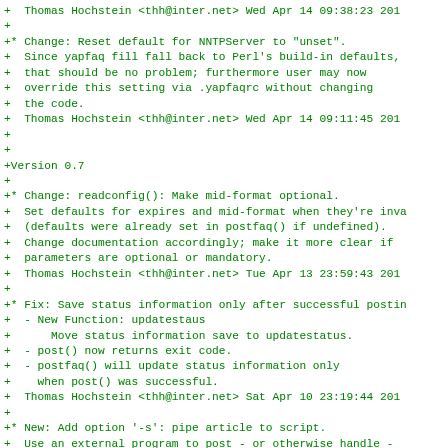Diff/patch output showing changelog entries for a software project (yapfaq), listing changes by Thomas Hochstein with dates and descriptions of fixes, new features, and version bumps.